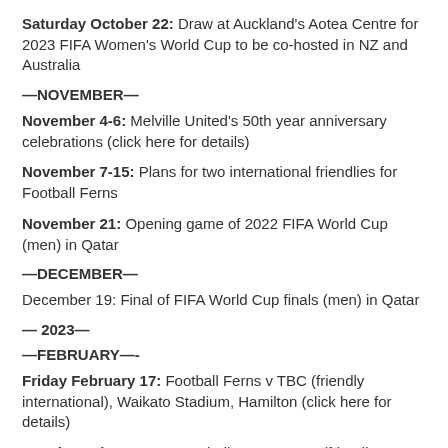Saturday October 22: Draw at Auckland's Aotea Centre for 2023 FIFA Women's World Cup to be co-hosted in NZ and Australia
—NOVEMBER—
November 4-6: Melville United's 50th year anniversary celebrations (click here for details)
November 7-15: Plans for two international friendlies for Football Ferns
November 21: Opening game of 2022 FIFA World Cup (men) in Qatar
—DECEMBER—
December 19: Final of FIFA World Cup finals (men) in Qatar
— 2023—
—FEBRUARY—-
Friday February 17: Football Ferns v TBC (friendly international), Waikato Stadium, Hamilton (click here for details)
Monday February 20: Football Ferns v TBC (friendly international), Waikato Stadium, Hamilton (click here for details)